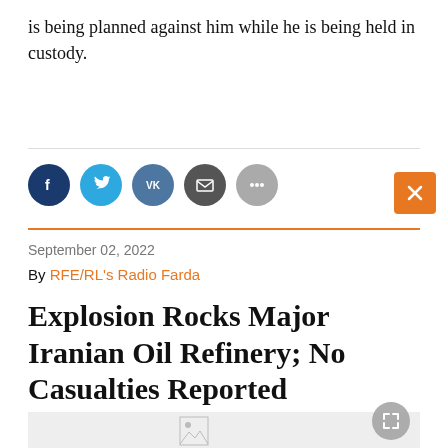is being planned against him while he is being held in custody.
[Figure (other): Social sharing icons: Facebook, Twitter, VK, Email, More; orange close (X) button]
September 02, 2022
By RFE/RL's Radio Farda
Explosion Rocks Major Iranian Oil Refinery; No Casualties Reported
[Figure (photo): Partially loaded image placeholder with expand icon]